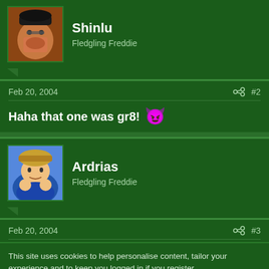[Figure (photo): Avatar of user Shinlu - person with beard wearing black hat]
Shinlu
Fledgling Freddie
Feb 20, 2004  #2
Haha that one was gr8!
[Figure (photo): Avatar of user Ardrias - cartoon character in blue outfit]
Ardrias
Fledgling Freddie
Feb 20, 2004  #3
This site uses cookies to help personalise content, tailor your experience and to keep you logged in if you register.
By continuing to use this site, you are consenting to our use of cookies.